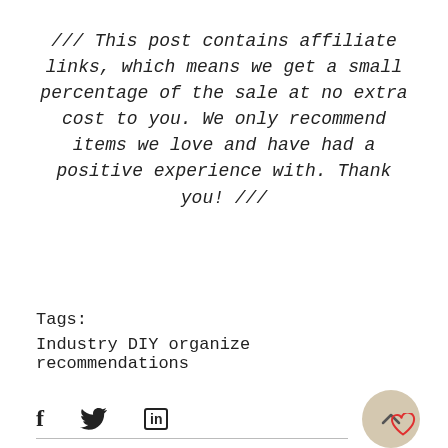/// This post contains affiliate links, which means we get a small percentage of the sale at no extra cost to you. We only recommend items we love and have had a positive experience with. Thank you! ///
Tags:
Industry DIY organize recommendations
[Figure (other): Social share icons: Facebook (f), Twitter (bird), LinkedIn (in), and a back-to-top circular button with an upward chevron. A heart/like icon is at the bottom right.]